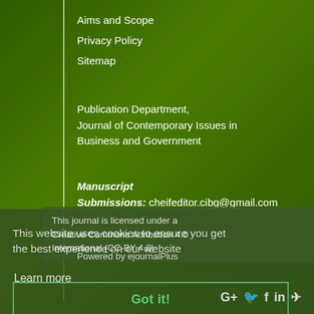Aims and Scope
Privacy Policy
Sitemap
Publication Department, Journal of Contemporary Issues in Business and Government
Manuscript Submissions: cheifeditor.cibg@gmail.com
This journal is licensed under a Creative Commons Attribution 4.0 International (CC-BY 4.0)
This website uses cookies to ensure you get the best experience on our website
Learn more
Powered by ejournalPlus
Got it!